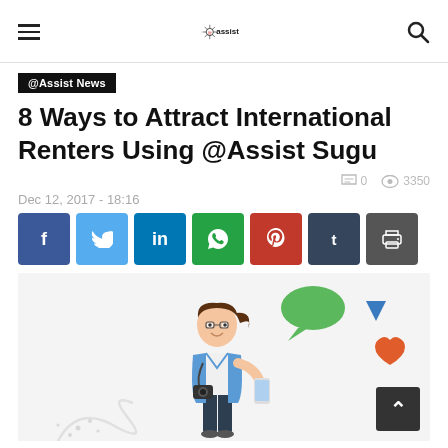@assist logo, hamburger menu, search icon
@Assist News
8 Ways to Attract International Renters Using @Assist Sugu
0   3350
Dec 12, 2017 - 18:16
[Figure (illustration): Social share buttons: Facebook, Twitter, LinkedIn, WhatsApp, Pinterest, Tumblr, Print]
[Figure (illustration): Cartoon illustration of a woman tourist with camera, holding a smartphone, with chat bubble and heart notification icons floating nearby, on a light gray background.]